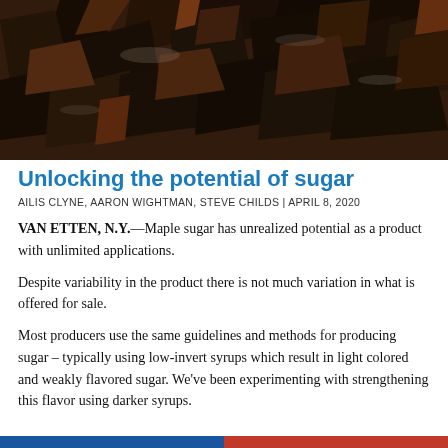[Figure (photo): Close-up photograph of dark brown maple sugar shards/crystals scattered on a surface, with various angular pieces of varying sizes.]
Unlocking the potential of sugar
AILIS CLYNE, AARON WIGHTMAN, STEVE CHILDS | APRIL 8, 2020
VAN ETTEN, N.Y.—Maple sugar has unrealized potential as a product with unlimited applications.
Despite variability in the product there is not much variation in what is offered for sale.
Most producers use the same guidelines and methods for producing sugar – typically using low-invert syrups which result in light colored and weakly flavored sugar. We've been experimenting with strengthening this flavor using darker syrups.